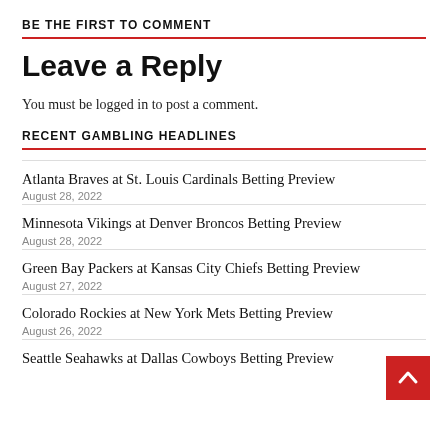BE THE FIRST TO COMMENT
Leave a Reply
You must be logged in to post a comment.
RECENT GAMBLING HEADLINES
Atlanta Braves at St. Louis Cardinals Betting Preview
August 28, 2022
Minnesota Vikings at Denver Broncos Betting Preview
August 28, 2022
Green Bay Packers at Kansas City Chiefs Betting Preview
August 27, 2022
Colorado Rockies at New York Mets Betting Preview
August 26, 2022
Seattle Seahawks at Dallas Cowboys Betting Preview